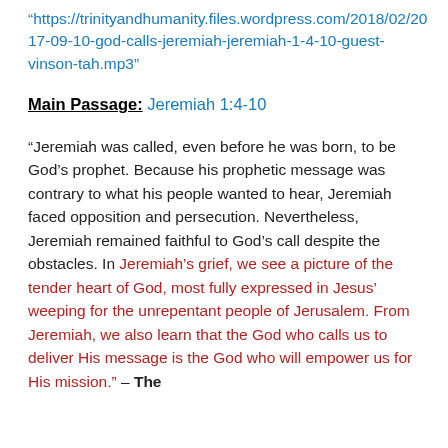“https://trinityandhumanity.files.wordpress.com/2018/02/2017-09-10-god-calls-jeremiah-jeremiah-1-4-10-guest-vinson-tah.mp3”
Main Passage: Jeremiah 1:4-10
“Jeremiah was called, even before he was born, to be God’s prophet. Because his prophetic message was contrary to what his people wanted to hear, Jeremiah faced opposition and persecution. Nevertheless, Jeremiah remained faithful to God’s call despite the obstacles. In Jeremiah’s grief, we see a picture of the tender heart of God, most fully expressed in Jesus’ weeping for the unrepentant people of Jerusalem. From Jeremiah, we also learn that the God who calls us to deliver His message is the God who will empower us for His mission.” – The